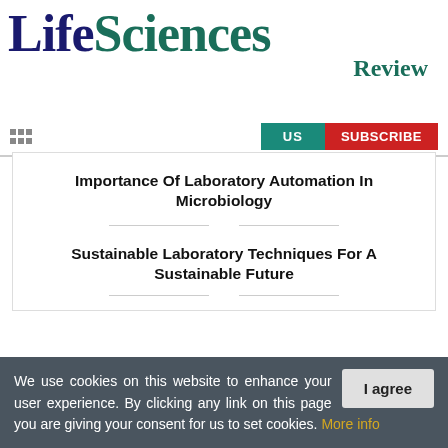Life Sciences Review
Importance Of Laboratory Automation In Microbiology
Sustainable Laboratory Techniques For A Sustainable Future
We use cookies on this website to enhance your user experience. By clicking any link on this page you are giving your consent for us to set cookies. More info